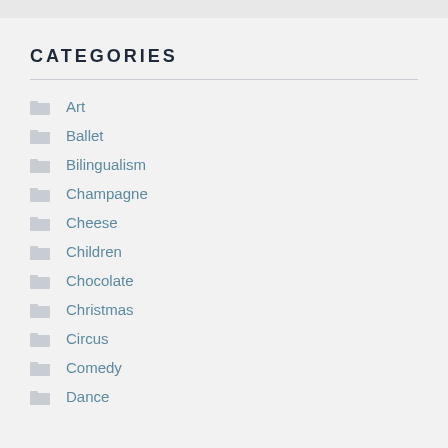CATEGORIES
Art
Ballet
Bilingualism
Champagne
Cheese
Children
Chocolate
Christmas
Circus
Comedy
Dance